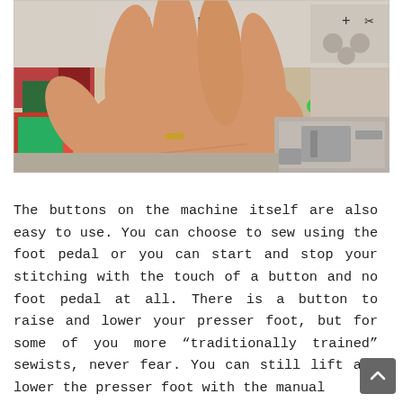[Figure (photo): A person's open hand/palm shown near a Janome sewing machine, with colorful fabric visible in the background on the left, and the sewing machine needle area visible on the right with a green indicator light.]
The buttons on the machine itself are also easy to use. You can choose to sew using the foot pedal or you can start and stop your stitching with the touch of a button and no foot pedal at all. There is a button to raise and lower your presser foot, but for some of you more “traditionally trained” sewists, never fear. You can still lift and lower the presser foot with the manual